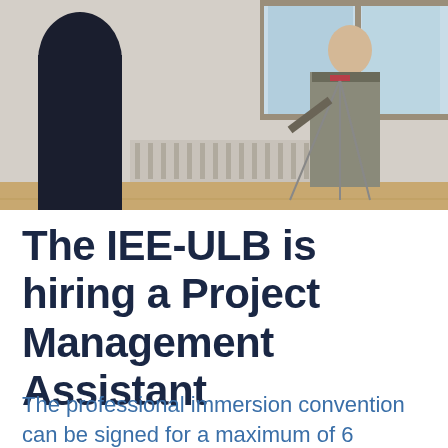[Figure (photo): Indoor photo of two people in a room. One person stands with their back to the camera wearing a dark blue top, the other person faces them holding a tripod or measuring equipment. A radiator and window are visible in the background, with a wooden floor.]
The IEE-ULB is hiring a Project Management Assistant
The professional immersion convention can be signed for a maximum of 6 months. The deadline for submission is August 15th